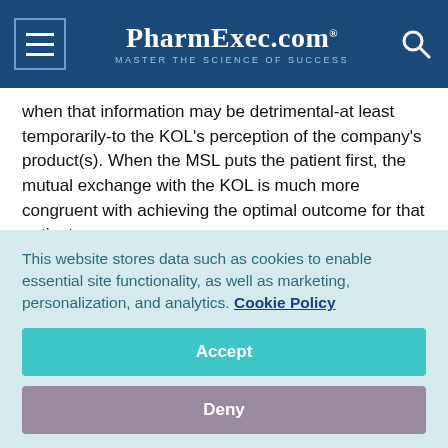PharmExec.com — MASTER THE SCIENCE OF SUCCESS
when that information may be detrimental-at least temporarily-to the KOL's perception of the company's product(s). When the MSL puts the patient first, the mutual exchange with the KOL is much more congruent with achieving the optimal outcome for that patient.
The Medical Science Liaison: defining the role
The MSL is a highly skilled and highly educated consulting professional who represents manufacturers in the healthcare
This website stores data such as cookies to enable essential site functionality, as well as marketing, personalization, and analytics. Cookie Policy
Accept
Deny